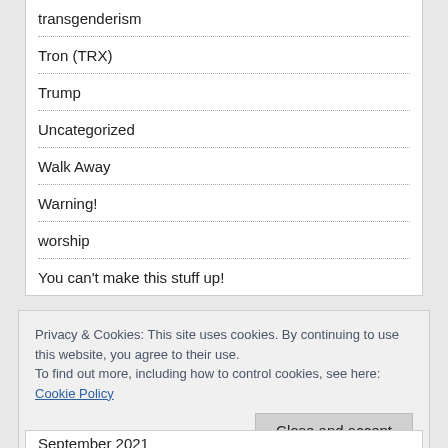transgenderism
Tron (TRX)
Trump
Uncategorized
Walk Away
Warning!
worship
You can't make this stuff up!
Privacy & Cookies: This site uses cookies. By continuing to use this website, you agree to their use.
To find out more, including how to control cookies, see here: Cookie Policy
Close and accept
September 2021